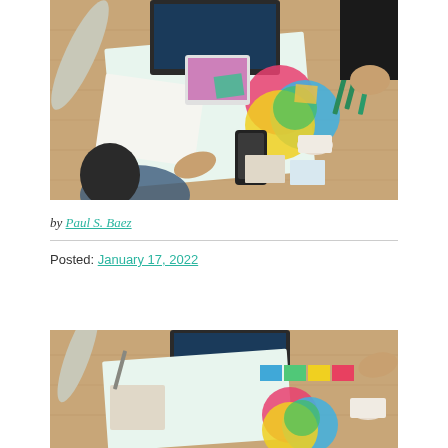[Figure (photo): Overhead view of designers working at a wooden desk with laptops, color swatches, color wheel print, notebooks, phone, and coffee cups]
by Paul S. Baez
Posted: January 17, 2022
[Figure (photo): Overhead view of a similar design workspace with laptop, color swatches, color wheel print, and coffee cup — partial view]